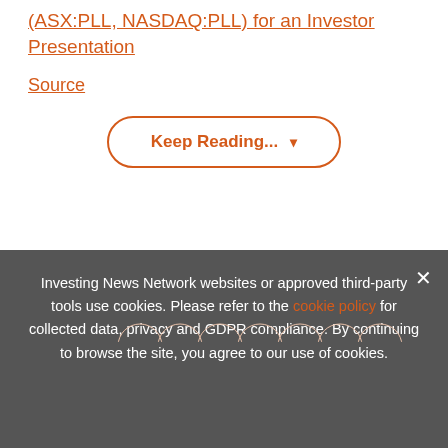(ASX:PLL, NASDAQ:PLL) for an Investor Presentation
Source
Keep Reading... ▾
LITHIUM INVESTING
[Figure (infographic): Advertisement banner: EXCLUSIVE 2022 RESOURCE OUTLOOK REPORT. TRENDS. FORECASTS. TOP STOCKS. with orange arrow button and vertical orange bar, close X button.]
Investing News Network websites or approved third-party tools use cookies. Please refer to the cookie policy for collected data, privacy and GDPR compliance. By continuing to browse the site, you agree to our use of cookies.